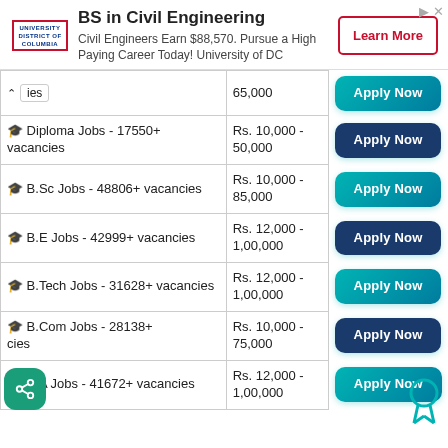[Figure (infographic): Advertisement banner for BS in Civil Engineering at University of District of Columbia. Logo on left, title 'BS in Civil Engineering', body text 'Civil Engineers Earn $88,570. Pursue a High Paying Career Today! University of DC', and a 'Learn More' button on the right.]
| Job Category | Salary Range | Action |
| --- | --- | --- |
| ies | 65,000 | Apply Now |
| 🎓 Diploma Jobs - 17550+ vacancies | Rs. 10,000 - 50,000 | Apply Now |
| 🎓 B.Sc Jobs - 48806+ vacancies | Rs. 10,000 - 85,000 | Apply Now |
| 🎓 B.E Jobs - 42999+ vacancies | Rs. 12,000 - 1,00,000 | Apply Now |
| 🎓 B.Tech Jobs - 31628+ vacancies | Rs. 12,000 - 1,00,000 | Apply Now |
| 🎓 B.Com Jobs - 28138+ cies | Rs. 10,000 - 75,000 | Apply Now |
| 🎓 B.A Jobs - 41672+ vacancies | Rs. 12,000 - 1,00,000 | Apply Now |